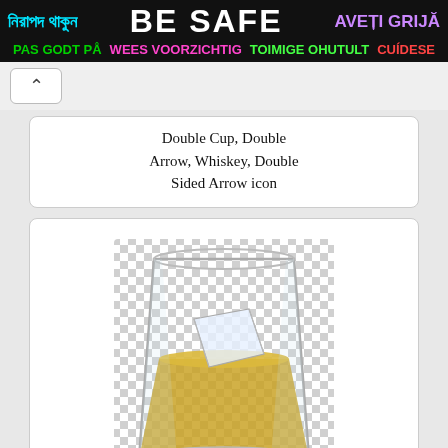নিরাপদ থাকুন  BE SAFE  AVEȚI GRIJĂ  PAS GODT PÅ  WEES VOORZICHTIG  TOIMIGE OHUTULT  CUÍDESE
Double Cup, Double Arrow, Whiskey, Double Sided Arrow icon
[Figure (photo): A whiskey glass with ice and golden whiskey, shown on a checkered transparency background]
Label Frame, Double Cup, Vintage Label, Fancy Label icon